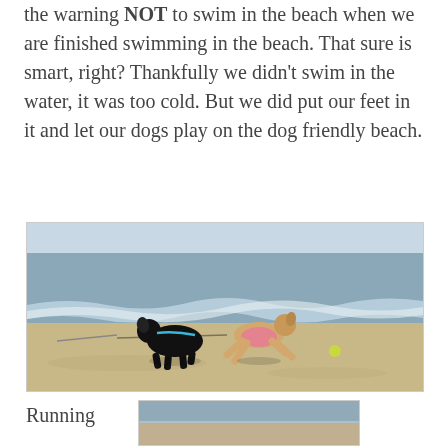the warning NOT to swim in the beach when we are finished swimming in the beach. That sure is smart, right? Thankfully we didn't swim in the water, it was too cold. But we did put our feet in it and let our dogs play on the dog friendly beach.
[Figure (photo): Two dogs running on a sandy beach near the ocean shoreline. One is a black dog on a leash and the other is a tan/fawn dog wearing a pink outfit, mid-leap. The ocean waves are visible in the background.]
Running
[Figure (photo): Partial view of another beach photo, cut off at the bottom of the page.]